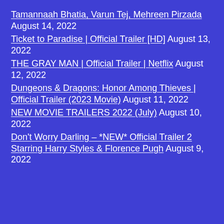Tamannaah Bhatia, Varun Tej, Mehreen Pirzada August 14, 2022
Ticket to Paradise | Official Trailer [HD] August 13, 2022
THE GRAY MAN | Official Trailer | Netflix August 12, 2022
Dungeons & Dragons: Honor Among Thieves | Official Trailer (2023 Movie) August 11, 2022
NEW MOVIE TRAILERS 2022 (July) August 10, 2022
Don't Worry Darling – *NEW* Official Trailer 2 Starring Harry Styles & Florence Pugh August 9, 2022